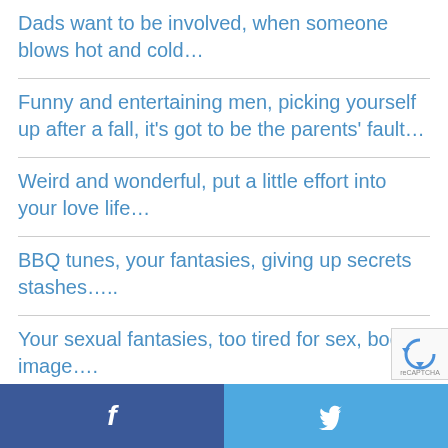Dads want to be involved, when someone blows hot and cold…
Funny and entertaining men, picking yourself up after a fall, it's got to be the parents' fault…
Weird and wonderful, put a little effort into your love life…
BBQ tunes, your fantasies, giving up secrets stashes….
Your sexual fantasies, too tired for sex, body image….
f  [Twitter bird icon]